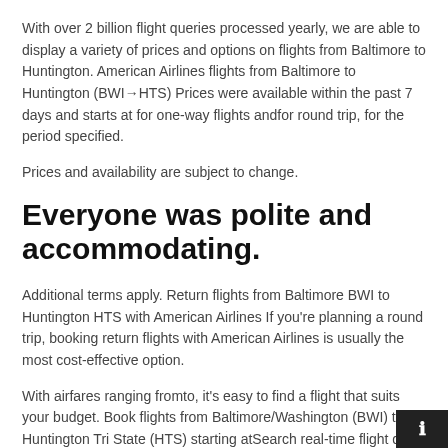With over 2 billion flight queries processed yearly, we are able to display a variety of prices and options on flights from Baltimore to Huntington. American Airlines flights from Baltimore to Huntington (BWI→HTS) Prices were available within the past 7 days and starts at for one-way flights andfor round trip, for the period specified.
Prices and availability are subject to change.
Everyone was polite and accommodating.
Additional terms apply. Return flights from Baltimore BWI to Huntington HTS with American Airlines If you're planning a round trip, booking return flights with American Airlines is usually the most cost-effective option.
With airfares ranging fromto, it's easy to find a flight that suits your budget. Book flights from Baltimore/Washington (BWI) to Huntington Tri State (HTS) starting atSearch real-time flight d… from Baltimore to Huntington on ticketbookall.com Search fo…